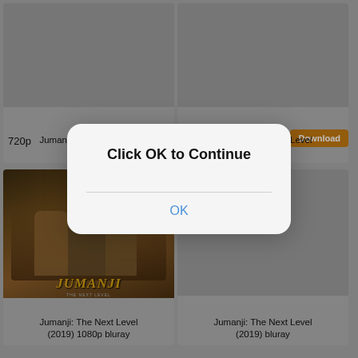[Figure (screenshot): Movie download website grid showing Jumanji: The Next Level (2019) in multiple formats, with a dialog overlay saying 'Click OK to Continue' with an OK button]
Jumanji: The Next Level (2019)
Jumanji: The Next Level (2019) 1080p
720p
1080p
Download
Jumanji: The Next Level (2019) 1080p bluray
Jumanji: The Next Level (2019) bluray
Click OK to Continue
OK